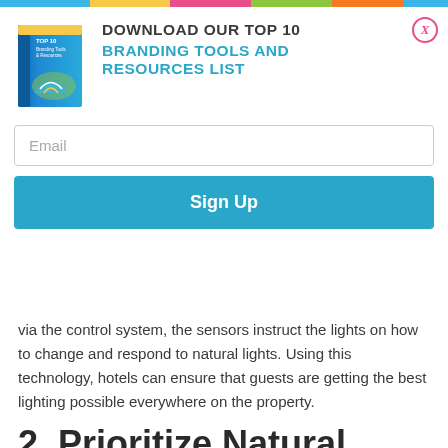[Figure (other): Popup overlay with book image, title 'DOWNLOAD OUR TOP 10 BRANDING TOOLS AND RESOURCES LIST', email field, and Sign Up button]
via the control system, the sensors instruct the lights on how to change and respond to natural lights. Using this technology, hotels can ensure that guests are getting the best lighting possible everywhere on the property.
2. Prioritize Natural